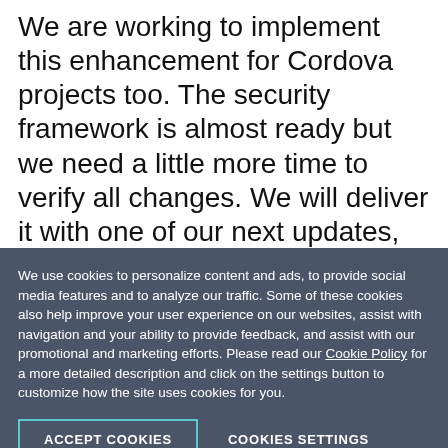We are working to implement this enhancement for Cordova projects too. The security framework is almost ready but we need a little more time to verify all changes. We will deliver it with one of our next updates, and we're aiming for a date before our next major release.
NativeScript 2.5 Is Here
We use cookies to personalize content and ads, to provide social media features and to analyze our traffic. Some of these cookies also help improve your user experience on our websites, assist with navigation and your ability to provide feedback, and assist with our promotional and marketing efforts. Please read our Cookie Policy for a more detailed description and click on the settings button to customize how the site uses cookies for you.
ACCEPT COOKIES
COOKIES SETTINGS